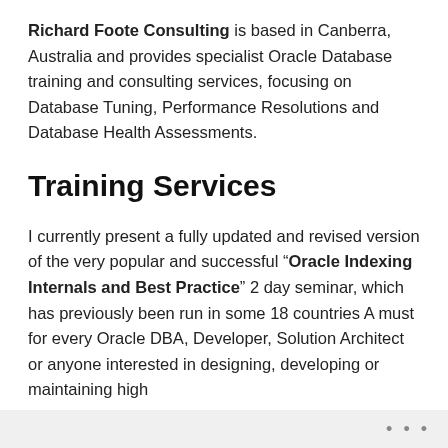Richard Foote Consulting is based in Canberra, Australia and provides specialist Oracle Database training and consulting services, focusing on Database Tuning, Performance Resolutions and Database Health Assessments.
Training Services
I currently present a fully updated and revised version of the very popular and successful “Oracle Indexing Internals and Best Practice” 2 day seminar, which has previously been run in some 18 countries A must for every Oracle DBA, Developer, Solution Architect or anyone interested in designing, developing or maintaining high
...